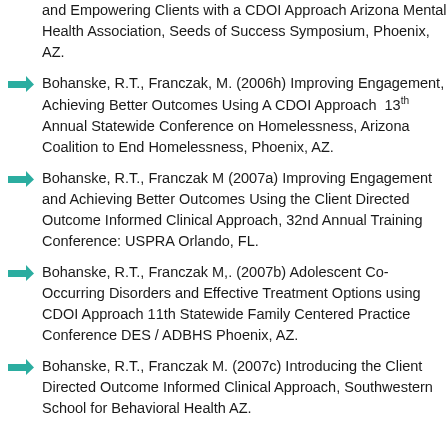and Empowering Clients with a CDOI Approach Arizona Mental Health Association, Seeds of Success Symposium, Phoenix, AZ.
Bohanske, R.T., Franczak, M. (2006h) Improving Engagement, Achieving Better Outcomes Using A CDOI Approach  13th Annual Statewide Conference on Homelessness, Arizona Coalition to End Homelessness, Phoenix, AZ.
Bohanske, R.T., Franczak M (2007a) Improving Engagement and Achieving Better Outcomes Using the Client Directed Outcome Informed Clinical Approach, 32nd Annual Training Conference: USPRA Orlando, FL.
Bohanske, R.T., Franczak M,. (2007b) Adolescent Co-Occurring Disorders and Effective Treatment Options using CDOI Approach 11th Statewide Family Centered Practice Conference DES / ADBHS Phoenix, AZ.
Bohanske, R.T., Franczak M. (2007c) Introducing the Client Directed Outcome Informed Clinical Approach, Southwestern School for Behavioral Health AZ.